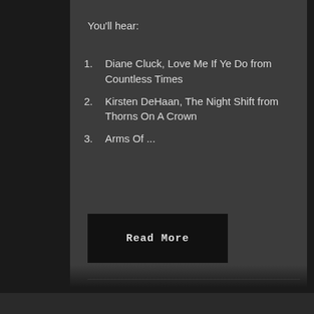You'll hear:
Diane Cluck, Love Me If Ye Do from Countless Times
Kirsten DeHaan, The Night Shift from Thorns On A Crown
Arms Of ...
Read More
20 JANUARY 2017  THE FEVERED BRAIN  NO COMMENTS  RADIOCASBAH